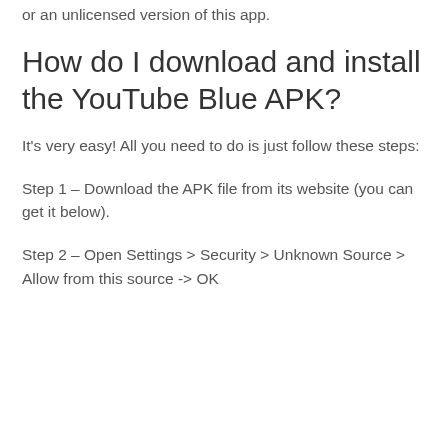or an unlicensed version of this app.
How do I download and install the YouTube Blue APK?
It's very easy! All you need to do is just follow these steps:
Step 1 – Download the APK file from its website (you can get it below).
Step 2 – Open Settings > Security > Unknown Source > Allow from this source -> OK